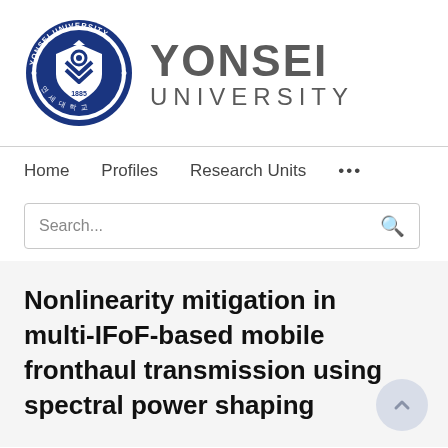[Figure (logo): Yonsei University logo: circular blue emblem with shield and '1885', next to large grey text 'YONSEI UNIVERSITY']
Home   Profiles   Research Units   ...
Search...
Nonlinearity mitigation in multi-IFoF-based mobile fronthaul transmission using spectral power shaping